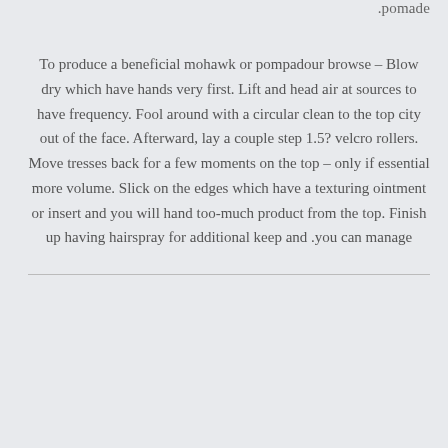.pomade
To produce a beneficial mohawk or pompadour browse – Blow dry which have hands very first. Lift and head air at sources to have frequency. Fool around with a circular clean to the top city out of the face. Afterward, lay a couple step 1.5? velcro rollers. Move tresses back for a few moments on the top – only if essential more volume. Slick on the edges which have a texturing ointment or insert and you will hand too-much product from the top. Finish up having hairspray for additional keep and .you can manage